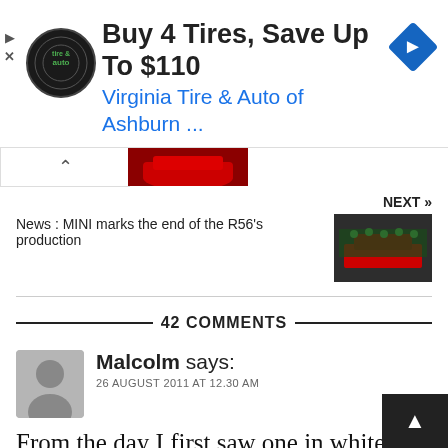[Figure (screenshot): Ad banner for Virginia Tire & Auto of Ashburn showing circular tire/auto logo, headline 'Buy 4 Tires, Save Up To $110', subheadline 'Virginia Tire & Auto of Ashburn ...', and a blue navigation arrow diamond icon on the right.]
NEXT »
News : MINI marks the end of the R56's production
[Figure (photo): Photo of a red MINI car on factory floor surrounded by workers in green.]
42 COMMENTS
Malcolm says:
26 AUGUST 2011 AT 12.30 AM
From the day I first saw one in white in a central London showroom as a teenager in 1975 I wanted one. I finally made it come